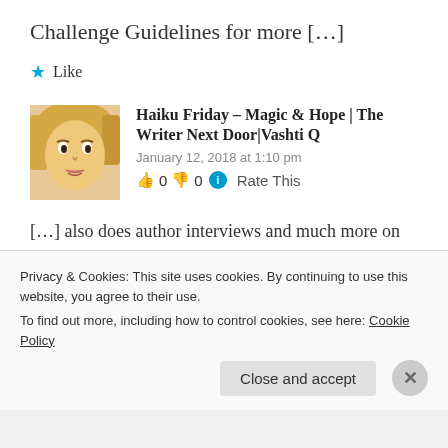Challenge Guidelines for more […]
★ Like
Haiku Friday – Magic & Hope | The Writer Next Door|Vashti Q
January 12, 2018 at 1:10 pm
👍 0 👎 0 ℹ Rate This
[…] also does author interviews and much more on his blog. Be sure to check it out. Read Ron's Haiku Prompt
Privacy & Cookies: This site uses cookies. By continuing to use this website, you agree to their use.
To find out more, including how to control cookies, see here: Cookie Policy
Close and accept